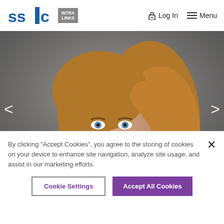SS&C Intra Links | Log In | Menu
[Figure (photo): Portrait photo of a smiling woman with long blonde hair, wearing a black jacket and dotted blouse, against a gray background. Navigation arrows on left and right sides.]
By clicking "Accept Cookies", you agree to the storing of cookies on your device to enhance site navigation, analyze site usage, and assist in our marketing efforts.
Cookie Settings | Accept All Cookies